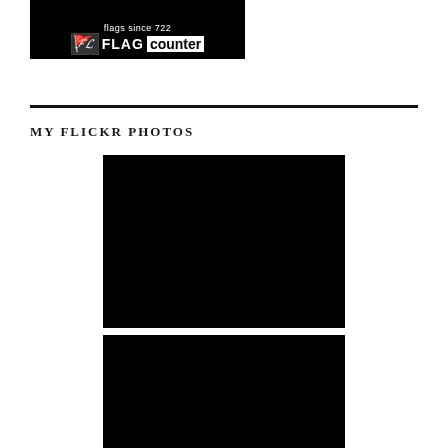[Figure (screenshot): Flag Counter banner widget showing logo with flag icon, 'FLAG' in white text and 'counter' in black text on white background, on dark background]
MY FLICKR PHOTOS
[Figure (photo): Black/dark rectangular photo placeholder - Flickr photo 1]
[Figure (photo): Black/dark rectangular photo placeholder - Flickr photo 2]